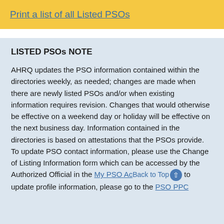Print a list of all Listed PSOs
LISTED PSOs NOTE
AHRQ updates the PSO information contained within the directories weekly, as needed; changes are made when there are newly listed PSOs and/or when existing information requires revision. Changes that would otherwise be effective on a weekend day or holiday will be effective on the next business day. Information contained in the directories is based on attestations that the PSOs provide. To update PSO contact information, please use the Change of Listing Information form which can be accessed by the Authorized Official in the My PSO Account to update profile information, please go to the PSO PPC